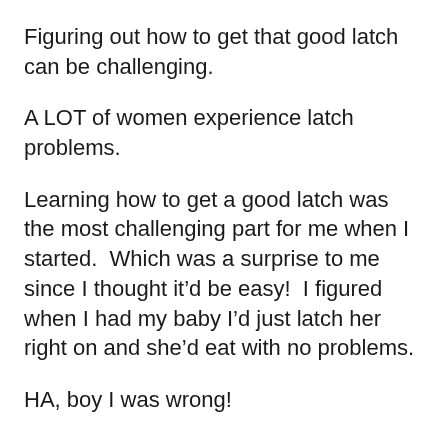Figuring out how to get that good latch can be challenging.
A LOT of women experience latch problems.
Learning how to get a good latch was the most challenging part for me when I started.  Which was a surprise to me since I thought it’d be easy!  I figured when I had my baby I’d just latch her right on and she’d eat with no problems.
HA, boy I was wrong!